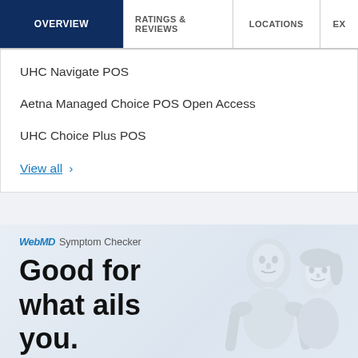OVERVIEW | RATINGS & REVIEWS | LOCATIONS | EX...
UHC Navigate POS
Aetna Managed Choice POS Open Access
UHC Choice Plus POS
View all >
[Figure (illustration): WebMD Symptom Checker advertisement featuring two light-colored anatomical human figures (male and female), with headline 'Good for what ails you.' and a 'Check Your Symptoms' button at the bottom.]